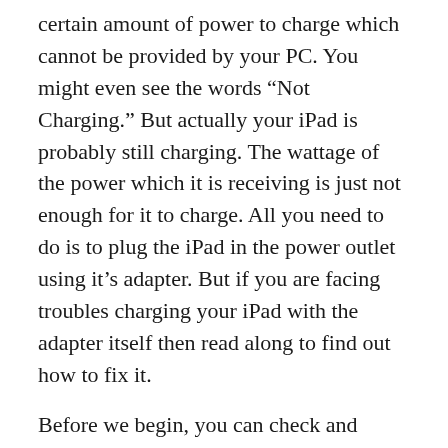certain amount of power to charge which cannot be provided by your PC. You might even see the words “Not Charging.” But actually your iPad is probably still charging. The wattage of the power which it is receiving is just not enough for it to charge. All you need to do is to plug the iPad in the power outlet using it’s adapter. But if you are facing troubles charging your iPad with the adapter itself then read along to find out how to fix it.
Before we begin, you can check and ensure that it’s not a hardware problem with the Lightning or Dock connector or the battery.
Check your socket if it works for other appliances.